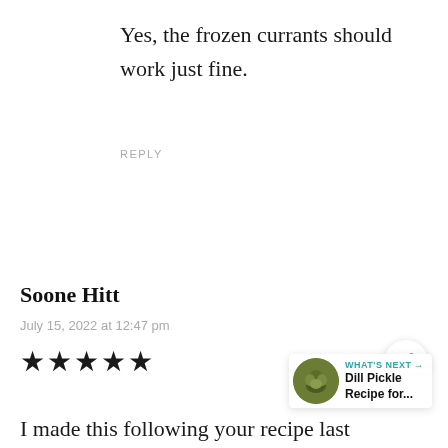Yes, the frozen currants should work just fine.
REPLY
Soone Hitt
July 15, 2022 at 12:47 pm
[Figure (other): 5-star rating displayed as 5 black filled stars]
I made this following your recipe last